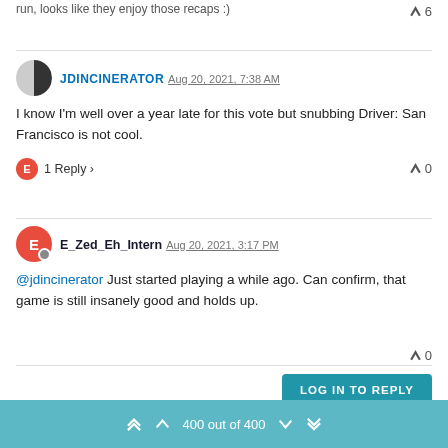run, looks like they enjoy those recaps :)
▲ 6
JDINCINERATOR Aug 20, 2021, 7:38 AM
I know I'm well over a year late for this vote but snubbing Driver: San Francisco is not cool.
1 Reply ▶ ▲ 0
E_Zed_Eh_Intern Aug 20, 2021, 3:17 PM
@jdincinerator Just started playing a while ago. Can confirm, that game is still insanely good and holds up.
▲ 0
LOG IN TO REPLY
400 out of 400